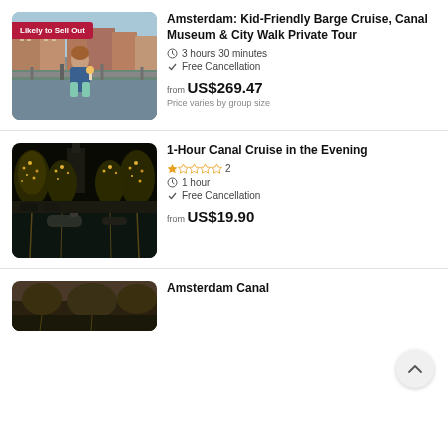[Figure (photo): Child standing on an Amsterdam canal bridge with historic buildings in background, holding an ice cream. Badge reads 'Likely to Sell Out'.]
Amsterdam: Kid-Friendly Barge Cruise, Canal Museum & City Walk Private Tour
3 hours 30 minutes
Free Cancellation
from US$269.47
Price varies by group size
[Figure (photo): Amsterdam canal at night with illuminated trees reflecting in the water and boats in the canal.]
1-Hour Canal Cruise in the Evening
2 reviews, 1 star rating
1 hour
Free Cancellation
from US$19.90
[Figure (photo): Amsterdam canal partial image at bottom of page.]
Amsterdam Canal